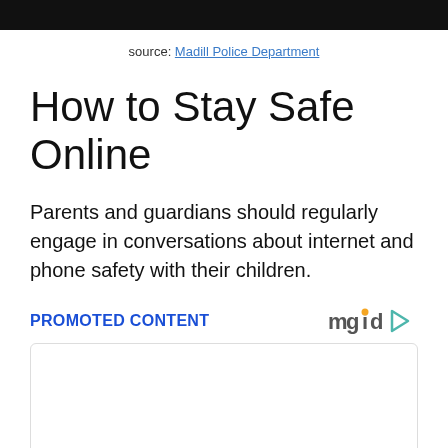source: Madill Police Department
How to Stay Safe Online
Parents and guardians should regularly engage in conversations about internet and phone safety with their children.
PROMOTED CONTENT
[Figure (other): Empty promoted content advertisement box with mgid logo]